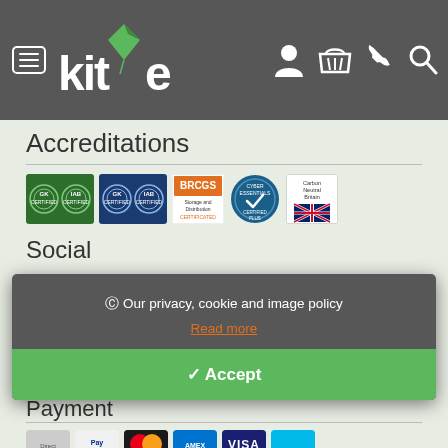[Figure (screenshot): Kite packaging website header with hamburger menu icon, Kite logo with diamond kite graphic, and navigation icons for account, basket, phone, and search on dark grey background with green top bar.]
Accreditations
[Figure (illustration): Row of accreditation badges: two GK/IAB certification badges (green and blue), BRCGS Storage and Distribution badge (orange), Cyber Essentials Plus certified badge (blue), and Carbon Neutral Britain badge.]
Social
Payment
[Figure (infographic): Cookie consent overlay on grey background reading: cookie icon, 'Our privacy, cookie and image policy', 'Read more' link in orange, and green 'Accept' button at bottom.]
[Figure (illustration): Row of payment method badges partially visible at bottom of page.]